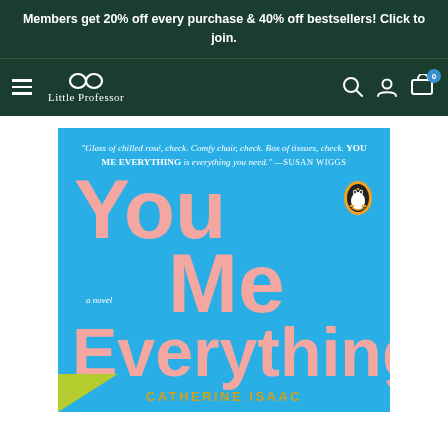Members get 20% off every purchase & 40% off bestsellers! Click to join.
[Figure (logo): Little Professor bookstore logo with glasses icon and navigation bar including hamburger menu, search, account, and cart icons]
[Figure (photo): Book cover for 'You Me Everything' by Catherine Isaac, published by Penguin. Blue background with large pink title text. Blurb reads: 'Glass of chilled rosé, check. Comfy chair, check. Box of tissues, check. YOU ME EVERYTHING is everything you need.' —SUSAN WIGGS. Subtitle: a novel. Author name in gold at bottom.]